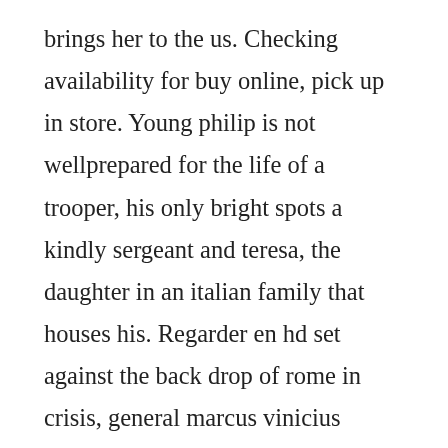brings her to the us. Checking availability for buy online, pick up in store. Young philip is not wellprepared for the life of a trooper, his only bright spots a kindly sergeant and teresa, the daughter in an italian family that houses his. Regarder en hd set against the back drop of rome in crisis, general marcus vinicius returns to the city from the battle fields and falls in love with a christian woman, lygia. Telecharger ultimas tardes con teresa film complet en. Teresa by fred zinnemann anna maria pier angeli, john ericson. For that